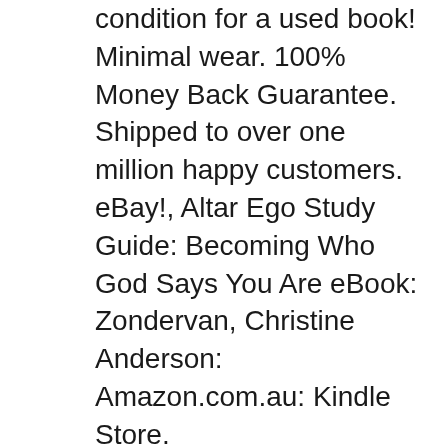condition for a used book! Minimal wear. 100% Money Back Guarantee. Shipped to over one million happy customers. eBay!, Altar Ego Study Guide: Becoming Who God Says You Are eBook: Zondervan, Christine Anderson: Amazon.com.au: Kindle Store.
You are who Christ says you are. This study guide offers discussion questions and other supplemental material to delve further into God's divine plan, and will ultimately help you sacrifice any old, unhealthy, untrue, and unbiblical thoughts about yourself and introduce you to your altar-ego---who you are in Christ. Many people are obsessed with the concept of others. The problem is...